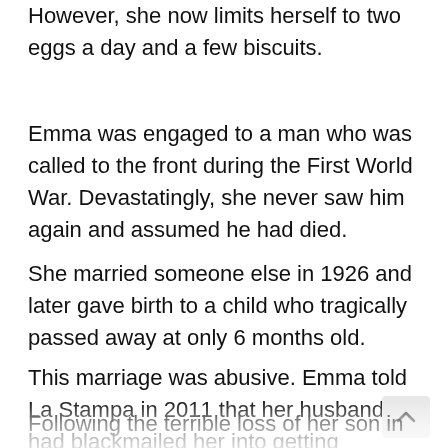However, she now limits herself to two eggs a day and a few biscuits.
Emma was engaged to a man who was called to the front during the First World War. Devastatingly, she never saw him again and assumed he had died.
She married someone else in 1926 and later gave birth to a child who tragically passed away at only 6 months old.
This marriage was abusive. Emma told La Stampa in 2011 that her husband had blackmailed her into getting married, threatening to kill her.
Following the terrible loss of her son in 1938 she